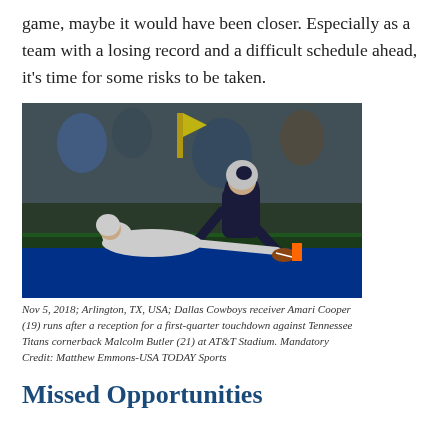game, maybe it would have been closer. Especially as a team with a losing record and a difficult schedule ahead, it's time for some risks to be taken.
[Figure (photo): Dallas Cowboys receiver Amari Cooper (19) reaching for a touchdown against Tennessee Titans cornerback Malcolm Butler (21) at AT&T Stadium, Nov 5, 2018.]
Nov 5, 2018; Arlington, TX, USA; Dallas Cowboys receiver Amari Cooper (19) runs after a reception for a first-quarter touchdown against Tennessee Titans cornerback Malcolm Butler (21) at AT&T Stadium. Mandatory Credit: Matthew Emmons-USA TODAY Sports
Missed Opportunities